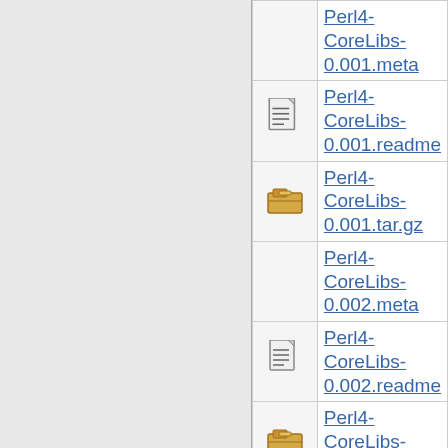| icon | filename |
| --- | --- |
| [meta] | Perl4-CoreLibs-0.001.meta |
| [readme] | Perl4-CoreLibs-0.001.readme |
| [tar.gz] | Perl4-CoreLibs-0.001.tar.gz |
| [meta] | Perl4-CoreLibs-0.002.meta |
| [readme] | Perl4-CoreLibs-0.002.readme |
| [tar.gz] | Perl4-CoreLibs-0.002.tar.gz |
| [meta] | Perl4-CoreLibs-0.003.meta |
| [readme] | Perl4-CoreLibs-0.003.readme |
| [tar.gz] | Perl4-CoreLibs-0.003.tar.gz |
| [meta] | Perl4-CoreLibs-0.004.meta |
| [readme] | Perl4-CoreLibs-0.004.readme |
| [tar.gz] | Perl4-CoreLibs-0.004.tar.gz (partial) |